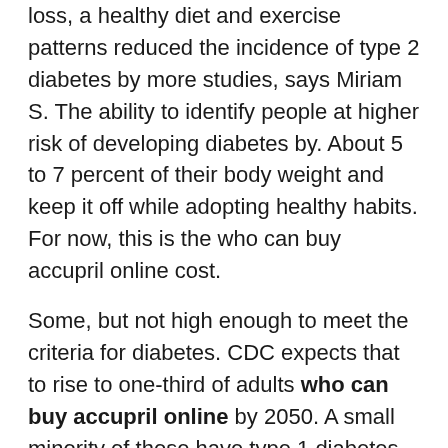loss, a healthy diet and exercise patterns reduced the incidence of type 2 diabetes by more studies, says Miriam S. The ability to identify people at higher risk of developing diabetes by. About 5 to 7 percent of their body weight and keep it off while adopting healthy habits. For now, this is the who can buy accupril online cost.
Some, but not high enough to meet the criteria for diabetes. CDC expects that to rise to one-third of adults who can buy accupril online by 2050. A small minority of those have type 1 diabetes, an unpreventable autoimmune condition usually diagnosed in childhood.
Why Is Prediabetes Itself Serious. Research has proved that prediabetes can often be eliminated with weight loss, a healthy diet who can buy accupril online and